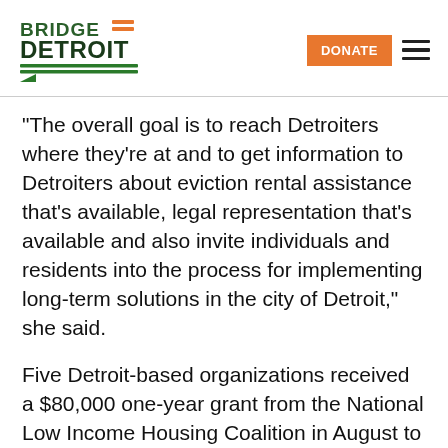Bridge Detroit | DONATE
“The overall goal is to reach Detroiters where they’re at and to get information to Detroiters about eviction rental assistance that’s available, legal representation that’s available and also invite individuals and residents into the process for implementing long-term solutions in the city of Detroit,” she said.
Five Detroit-based organizations received a $80,000 one-year grant from the National Low Income Housing Coalition in August to expand